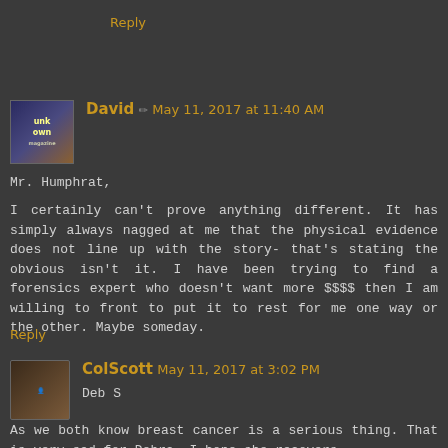Reply
David ✏ May 11, 2017 at 11:40 AM
Mr. Humphrat,
I certainly can't prove anything different. It has simply always nagged at me that the physical evidence does not line up with the story- that's stating the obvious isn't it. I have been trying to find a forensics expert who doesn't want more $$$$ then I am willing to front to put it to rest for me one way or the other. Maybe someday.
Reply
ColScott May 11, 2017 at 3:02 PM
Deb S
As we both know breast cancer is a serious thing. That is very sad for Debra. I hope she recovers.